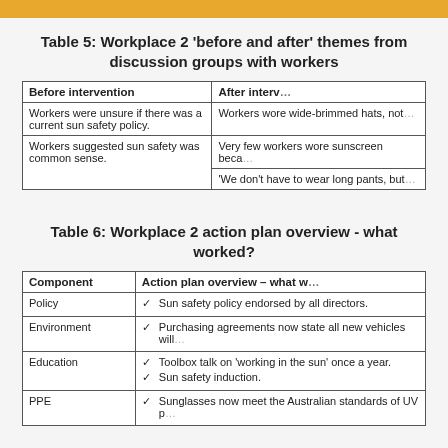Table 5: Workplace 2 'before and after' themes from discussion groups with workers
| Before intervention | After interv... |
| --- | --- |
| Workers were unsure if there was a current sun safety policy. | Workers wore wide-brimmed hats, not... |
| Workers suggested sun safety was common sense. | Very few workers wore sunscreen beca...
'We don't have to wear long pants, but... |
Table 6: Workplace 2 action plan overview - what worked?
| Component | Action plan overview – what w... |
| --- | --- |
| Policy | ✓ Sun safety policy endorsed by all directors. |
| Environment | ✓ Purchasing agreements now state all new vehicles will... |
| Education | ✓ Toolbox talk on 'working in the sun' once a year.
✓ Sun safety induction. |
| PPE | ✓ Sunglasses now meet the Australian standards of UV p... |